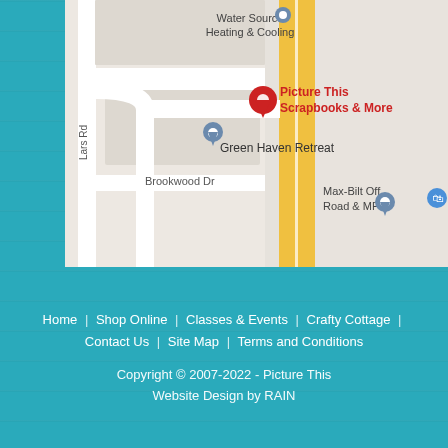[Figure (map): Google Maps screenshot showing location of 'Picture This Scrapbooks & More' with a red pin marker. Nearby labels include Water Source Heating & Cooling, Green Haven Retreat, Brookwood Dr, Lars Rd, and Max-Bilt Off Road & MFG. A yellow highway runs vertically through the map.]
Home | Shop Online | Classes & Events | Crafty Cottage | Contact Us | Site Map | Terms and Conditions
Copyright © 2007-2022 - Picture This Website Design by RAIN